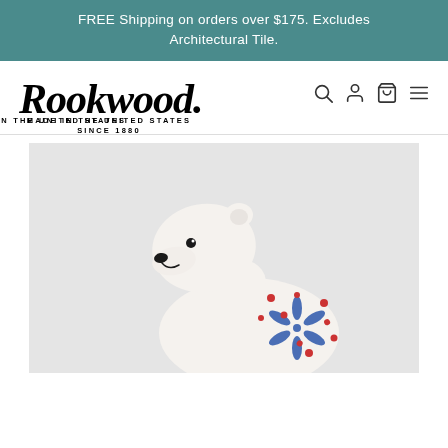FREE Shipping on orders over $175. Excludes Architectural Tile.
[Figure (logo): Rookwood script logo with text MADE IN THE UNITED STATES SINCE 1880, plus navigation icons for search, account, cart, and menu]
[Figure (photo): Ceramic polar bear figurine with hand-painted blue snowflake design and red dots on a light gray background]